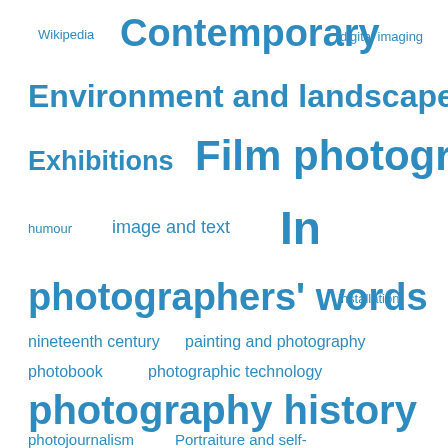[Figure (infographic): Tag cloud / word cloud with photography-related terms in various font sizes in blue color on white background. Terms include: Wikipedia, Contemporary, digital imaging, Environment and landscape, Exhibitions, Film photography, humour, image and text, In, photographers' words, installation, nineteenth century, painting and photography, photobook, photographic technology, photography history, photojournalism, Portraiture and self-]